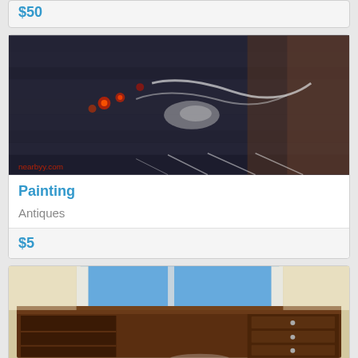$50
[Figure (photo): Dark abstract painting with red dots and white swirling marks, with a nearbyy.com watermark in the bottom left corner]
Painting
Antiques
$5
[Figure (photo): Wooden entertainment center/desk with open shelving on the left and drawers on the right, against a window with blue exterior visible]